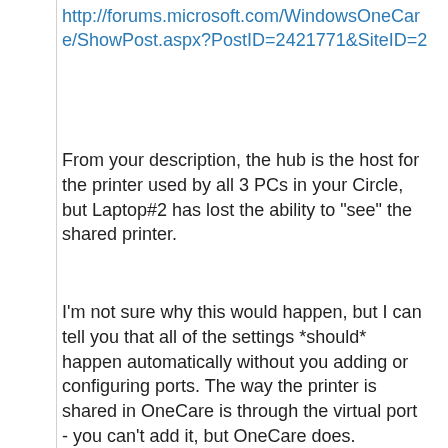http://forums.microsoft.com/WindowsOneCare/ShowPost.aspx?PostID=2421771&SiteID=2
From your description, the hub is the host for the printer used by all 3 PCs in your Circle, but Laptop#2 has lost the ability to "see" the shared printer.
I'm not sure why this would happen, but I can tell you that all of the settings *should* happen automatically without you adding or configuring ports. The way the printer is shared in OneCare is through the virtual port - you can't add it, but OneCare does.
Here is the current troubleshooting topic for Printer Sharing in OneCare where a shared printer can't be used by a computer in the Circle, which sounds like your problem. I suggest going through these steps. If it works, please report back what the solution was. If you still can't print to that printer, please contact support per the